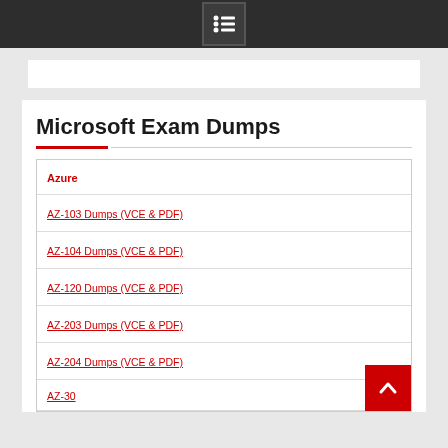Microsoft Exam Dumps
Azure
AZ-103 Dumps (VCE & PDF)
AZ-104 Dumps (VCE & PDF)
AZ-120 Dumps (VCE & PDF)
AZ-203 Dumps (VCE & PDF)
AZ-204 Dumps (VCE & PDF)
AZ-30? Dumps (VCE & PDF)